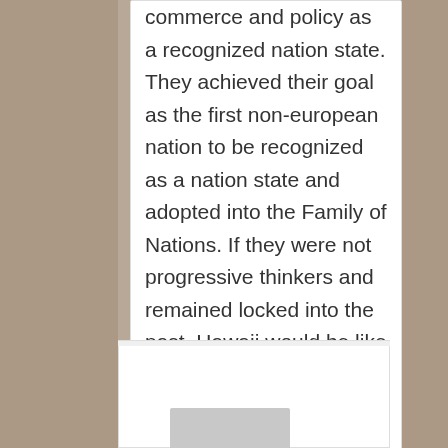commerce and policy as a recognized nation state. They achieved their goal as the first non-european nation to be recognized as a nation state and adopted into the Family of Nations. If they were not progressive thinkers and remained locked into the past, Hawaii would be like all the other colonized nations subjected to a foreign rule and at the mercy of the colonizer for independence through the de-colonization process. Mahalo for our intellectual progressive thinking Ali‘i of the past and the leaders of today that are moving for de-occupation inorder to re-establish our governance once again as a independent nation state.
Reply ↓